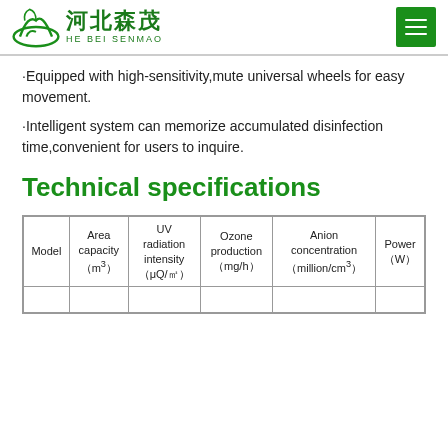河北森茂 HE BEI SENMAO
·Equipped with high-sensitivity,mute universal wheels for easy movement.
·Intelligent system can memorize accumulated disinfection time,convenient for users to inquire.
Technical specifications
| Model | Area capacity（m³） | UV radiation intensity（μQ/㎡） | Ozone production（mg/h） | Anion concentration（million/cm³） | Power（W） |
| --- | --- | --- | --- | --- | --- |